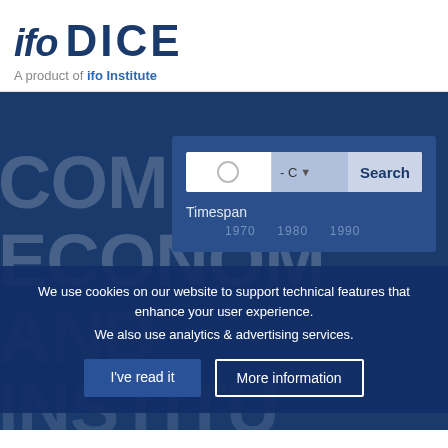[Figure (logo): ifo DICE logo with 'ifo' in italic bold and 'DICE' in bold, both in dark navy blue]
A product of ifo Institute
COMPARATIVE ECONOMICS AND INSTITUTIONS
[Figure (screenshot): Search panel with text input, dropdown selector showing '-C', and Search button, plus Timespan label and year markers 1970 1980 1990]
We use cookies on our website to support technical features that enhance your user experience.
We also use analytics & advertising services.
I've read it
More information